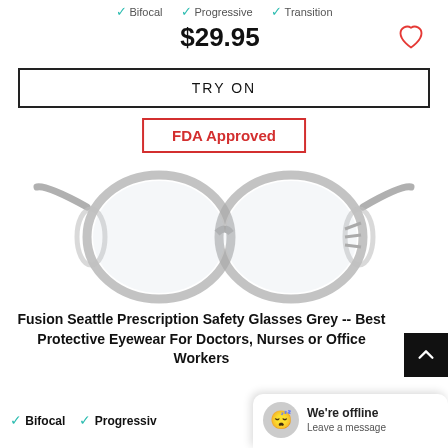✓ Bifocal   ✓ Progressive   ✓ Transition
$29.95
TRY ON
FDA Approved
[Figure (photo): Fusion Seattle Prescription Safety Glasses in grey/transparent frames with side shields, round lenses]
Fusion Seattle Prescription Safety Glasses Grey -- Best Protective Eyewear For Doctors, Nurses or Office Workers
✓ Bifocal   ✓ Progressiv
We're offline
Leave a message